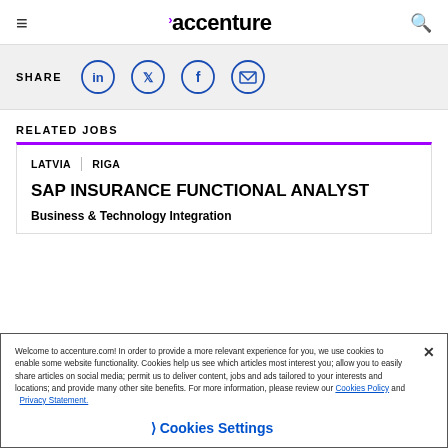accenture
[Figure (screenshot): Share bar with LinkedIn, Twitter, Facebook, and email icons in blue circles on a grey background]
RELATED JOBS
LATVIA | RIGA
SAP INSURANCE FUNCTIONAL ANALYST
Business & Technology Integration
Welcome to accenture.com! In order to provide a more relevant experience for you, we use cookies to enable some website functionality. Cookies help us see which articles most interest you; allow you to easily share articles on social media; permit us to deliver content, jobs and ads tailored to your interests and locations; and provide many other site benefits. For more information, please review our Cookies Policy and Privacy Statement.
❯ Cookies Settings